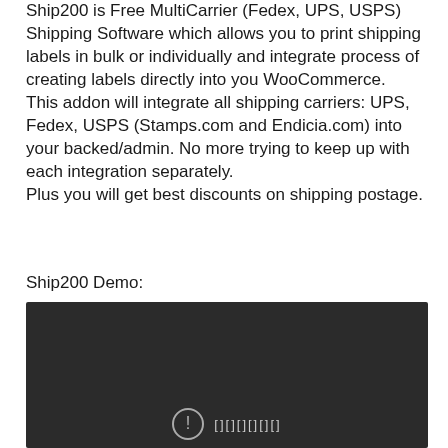Ship200 is Free MultiCarrier (Fedex, UPS, USPS) Shipping Software which allows you to print shipping labels in bulk or individually and integrate process of creating labels directly into you WooCommerce.
This addon will integrate all shipping carriers: UPS, Fedex, USPS (Stamps.com and Endicia.com) into your backed/admin. No more trying to keep up with each integration separately.
Plus you will get best discounts on shipping postage.
Ship200 Demo:
[Figure (screenshot): Dark video player embed showing a Ship200 demo video, with a circular icon and text in the bottom center area.]